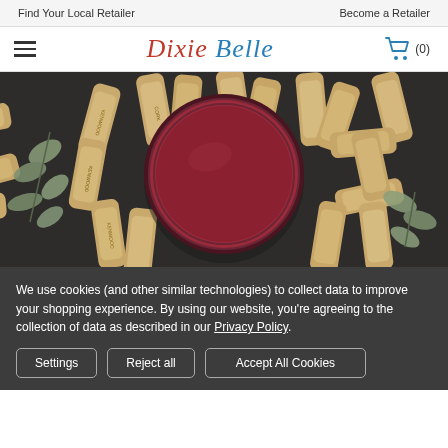Find Your Local Retailer    Become a Retailer
[Figure (logo): Dixie Belle Paint Company logo with hamburger menu and shopping cart icon showing (0) items]
[Figure (photo): Overhead photo of a round open can of dark red/burgundy paint surrounded by wine corks and eucalyptus leaves on a dark background]
We use cookies (and other similar technologies) to collect data to improve your shopping experience. By using our website, you're agreeing to the collection of data as described in our Privacy Policy.
Settings
Reject all
Accept All Cookies